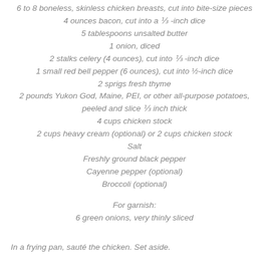6 to 8 boneless, skinless chicken breasts, cut into bite-size pieces
4 ounces bacon, cut into a ⅓-inch dice
5 tablespoons unsalted butter
1 onion, diced
2 stalks celery (4 ounces), cut into ⅓-inch dice
1 small red bell pepper (6 ounces), cut into ½-inch dice
2 sprigs fresh thyme
2 pounds Yukon God, Maine, PEI, or other all-purpose potatoes, peeled and slice ⅓ inch thick
4 cups chicken stock
2 cups heavy cream (optional) or 2 cups chicken stock
Salt
Freshly ground black pepper
Cayenne pepper (optional)
Broccoli (optional)
For garnish:
6 green onions, very thinly sliced
In a frying pan, sauté the chicken. Set aside.